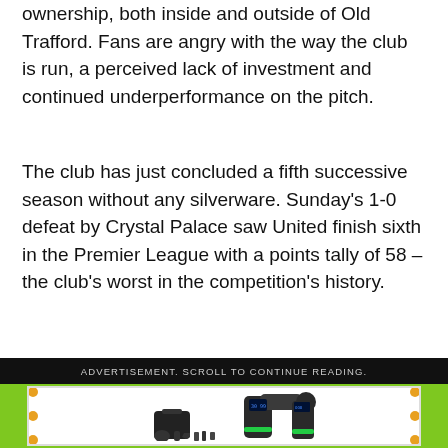ownership, both inside and outside of Old Trafford. Fans are angry with the way the club is run, a perceived lack of investment and continued underperformance on the pitch.
The club has just concluded a fifth successive season without any silverware. Sunday's 1-0 defeat by Crystal Palace saw United finish sixth in the Premier League with a points tally of 58 – the club's worst in the competition's history.
ADVERTISEMENT. SCROLL TO CONTINUE READING.
[Figure (photo): Advertisement image showing a massage gun device with accessories (carrying case, multiple attachment heads) against a white background, framed in a green border with orange corner dots.]